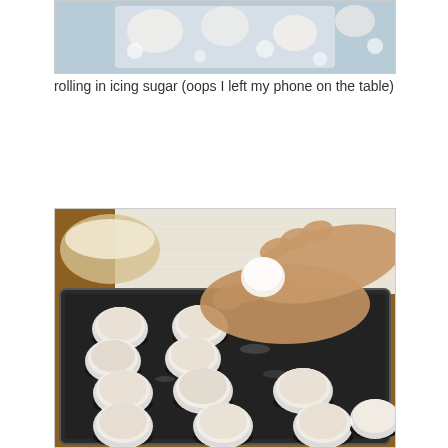[Figure (photo): Top portion of a photo showing powdered/iced items on a surface with icing sugar]
rolling in icing sugar (oops I left my phone on the table)
[Figure (photo): Hands placing powdered sugar-coated cupcakes/truffles onto a dark baking tray lined with cupcake liners, multiple white-dusted round items already placed on the tray]